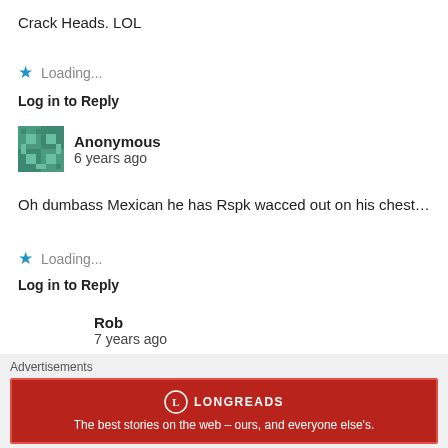Crack Heads. LOL
★ Loading...
Log in to Reply
Anonymous
6 years ago
Oh dumbass Mexican he has Rspk wacced out on his chest…
★ Loading...
Log in to Reply
Rob
7 years ago
Hi, guys – I'm Bill. You like role-playing games?
Advertisements
[Figure (other): Longreads advertisement banner: red background with Longreads logo and tagline 'The best stories on the web – ours, and everyone else's.']